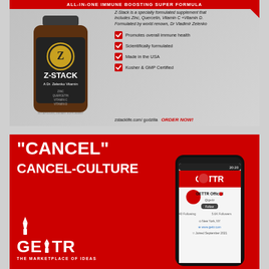[Figure (infographic): Z-Stack supplement advertisement showing a bottle of Z-Stack (A Dr. Zelenko Vitamin containing Zinc, Quercetin, Vitamin C, Vitamin D). Red banner at top reads ALL-IN-ONE IMMUNE BOOSTING SUPER FORMULA. Text describes the product as specially formulated by Dr. Vladimir Zelenko. Checkmarks list: Promotes overall immune health, Scientifically formulated, Made in the USA, Kosher & GMP Certified. Footer shows zstacklife.com/godzilla and ORDER NOW! in red.]
[Figure (infographic): GETTR social media platform advertisement on red background. Large white bold text reads CANCEL CANCEL-CULTURE. Shows GETTR logo with torch icon and tagline THE MARKETPLACE OF IDEAS. Right side shows a smartphone displaying the GETTR app with GETTR Official profile page, showing 40 Following, 5.6K Followers, New York, NY, www.gettr.com, Joined September 2021.]